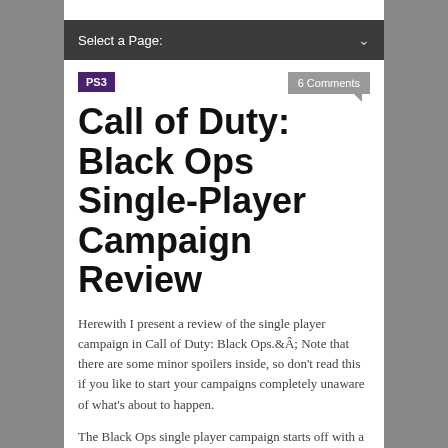Select a Page:
PS3
6 Comments
Call of Duty: Black Ops Single-Player Campaign Review
Herewith I present a review of the single player campaign in Call of Duty: Black Ops.Â Note that there are some minor spoilers inside, so don’t read this if you like to start your campaigns completely unaware of what’s about to happen.
The Black Ops single player campaign starts off with a good deal of mystery and confusion. Who are you?Â  Who is the guy in the balcony interrogating you?Â  What are all those TVs